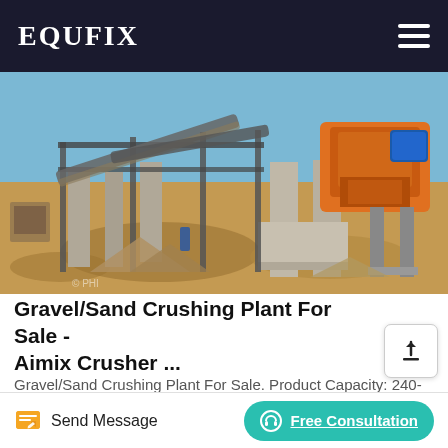EQUFIX
[Figure (photo): Outdoor gravel/sand crushing plant facility with orange crushers, conveyor belts, concrete pillars and piles of crushed material on a sandy terrain.]
Gravel/Sand Crushing Plant For Sale - Aimix Crusher ...
Gravel/Sand Crushing Plant For Sale. Product Capacity: 240-500 t/h. Power: 266-374 kw. Crusher Model: 5X8522/5X9532. Number of Axles: 3. Aimix gravel